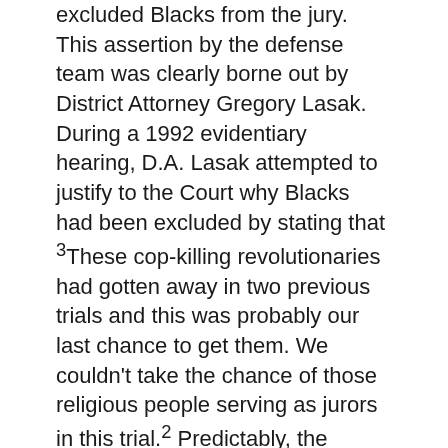excluded Blacks from the jury. This assertion by the defense team was clearly borne out by District Attorney Gregory Lasak. During a 1992 evidentiary hearing, D.A. Lasak attempted to justify to the Court why Blacks had been excluded by stating that ³These cop-killing revolutionaries had gotten away in two previous trials and this was probably our last chance to get them. We couldn't take the chance of those religious people serving as jurors in this trial.² Predictably, the courts denied their appeal.
The government has been very uncooperative about turning over requested documents being sought under the Freedom of Information Act. During the three trials there were deliberate acts by law enforcement agencies to hide certain evidence helpful to the defense. Attorneys are still in the process of trying to make law enforcement agencies turn over all evidence in this case.